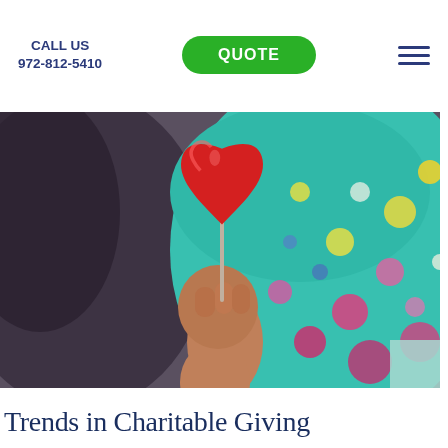CALL US
972-812-5410
QUOTE
[Figure (photo): A child's hand holding a red heart-shaped lollipop in front of a colorful floral-patterned outfit, blurred background]
Trends in Charitable Giving